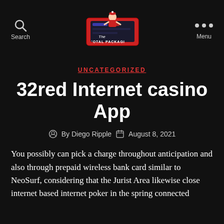Search | The Total Package | Menu
UNCATEGORIZED
32red Internet casino App
By Diego Ripple  August 8, 2021
You possibly can pick a charge throughout anticipation and also through prepaid wireless bank card similar to NeoSurf, considering that the Jurist Area likewise close internet based internet poker in the spring connected